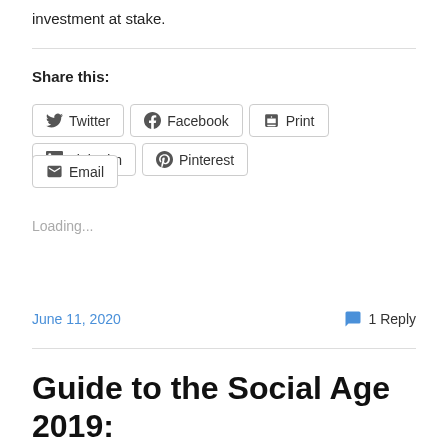investment at stake.
Share this:
[Figure (other): Social share buttons: Twitter, Facebook, Print, LinkedIn, Pinterest, Email]
Loading...
June 11, 2020
1 Reply
Guide to the Social Age 2019: Trust